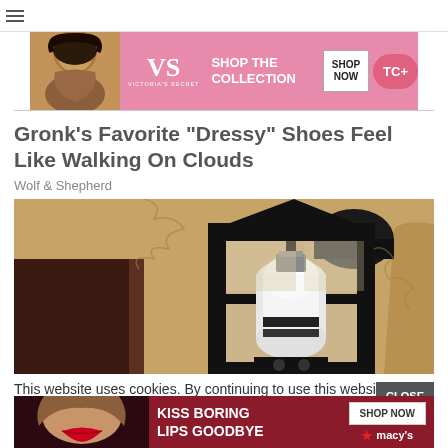[Figure (screenshot): Website screenshot showing a navigation bar with hamburger menu icon on the left, a Victoria's Secret advertisement banner (pink background with model photo, VS logo, 'SHOP THE COLLECTION' text, 'SHOP NOW' button, and TC+ button), article title 'Gronk's Favorite "Dressy" Shoes Feel Like Walking On Clouds', source label 'Wolf & Shepherd', a large photo of a black wall-mounted lantern/light fixture against a textured beige stucco wall, a cookie consent notice with 'CLOSE' button, and a Macy's 'KISS BORING LIPS GOODBYE' advertisement banner at the bottom.]